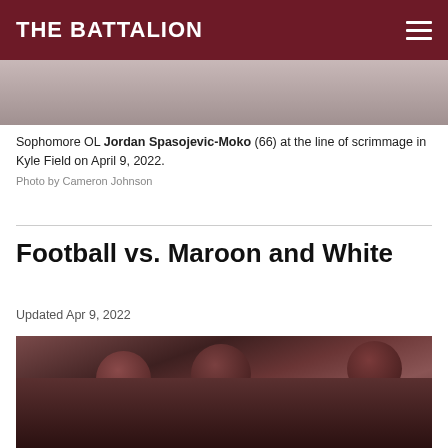THE BATTALION
[Figure (photo): Cropped photo of football players at the line of scrimmage at Kyle Field]
Sophomore OL Jordan Spasojevic-Moko (66) at the line of scrimmage in Kyle Field on April 9, 2022.
Photo by Cameron Johnson
Football vs. Maroon and White
Updated Apr 9, 2022
[Figure (photo): A&M football players wearing maroon helmets with ATM logo engaged in blocking/scrimmage action at Kyle Field]